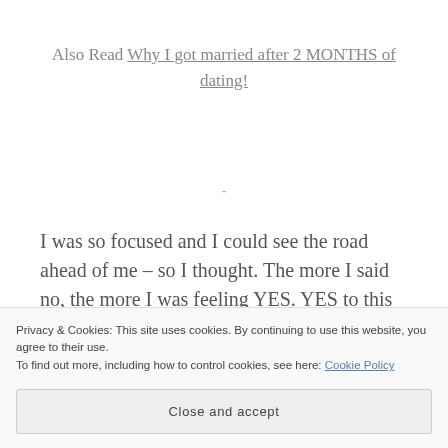Also Read Why I got married after 2 MONTHS of dating!
-
I was so focused and I could see the road ahead of me – so I thought. The more I said no, the more I was feeling YES. YES to this new empowered Madison who didn't let guys trample over her fragile heart. I moved in with a very close friend, cleared all my debts and set a goal
Privacy & Cookies: This site uses cookies. By continuing to use this website, you agree to their use.
To find out more, including how to control cookies, see here: Cookie Policy
Close and accept
I started to feel that I was mentally okay to date again